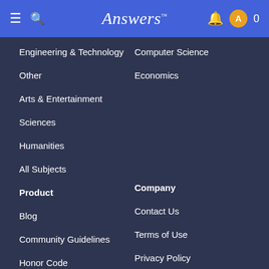Answers
Engineering & Technology
Computer Science
Other
Economics
Arts & Entertainment
Sciences
Humanities
All Subjects
Product
Company
Blog
Contact Us
Community Guidelines
Terms of Use
Honor Code
Privacy Policy
Flashcard Maker
Disclaimer